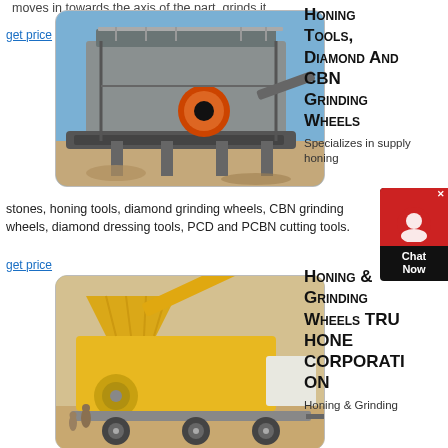moves in towards the axis of the part, grinds it
get price
[Figure (photo): Industrial crushing/screening plant machinery on a construction/mining site with metal framework, conveyor belt, and orange circular component against blue sky]
Honing Tools, Diamond And CBN Grinding Wheels
Specializes in supply honing stones, honing tools, diamond grinding wheels, CBN grinding wheels, diamond dressing tools, PCD and PCBN cutting tools.
get price
[Figure (photo): Yellow mobile crushing/screening machine on a trailer at a construction or mining site with workers visible]
Honing & Grinding Wheels TRU HONE CORPORATION
Honing & Grinding